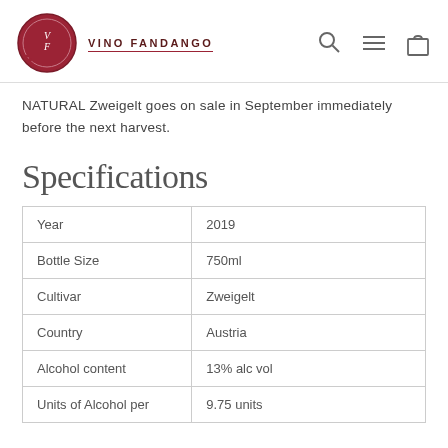VINO FANDANGO
NATURAL Zweigelt goes on sale in September immediately before the next harvest.
Specifications
|  |  |
| --- | --- |
| Year | 2019 |
| Bottle Size | 750ml |
| Cultivar | Zweigelt |
| Country | Austria |
| Alcohol content | 13% alc vol |
| Units of Alcohol per | 9.75 units |